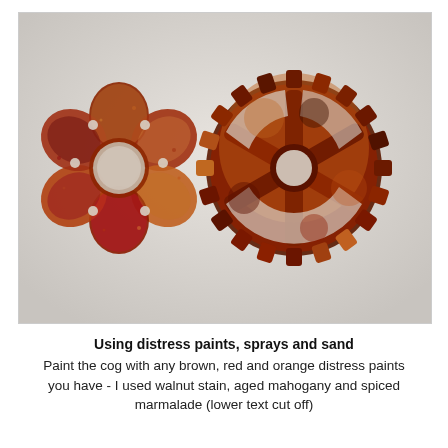[Figure (photo): Two decorative craft pieces with distress paint finish: a flower-shaped connector/pendant on the left and a steampunk gear/cog on the right, both coated in brown, red, and orange distress paints with a sandy, rusty texture.]
Using distress paints, sprays and sand
Paint the cog with any brown, red and orange distress paints you have - I used walnut stain, aged mahogany and spiced marmalade (lower text cut off)